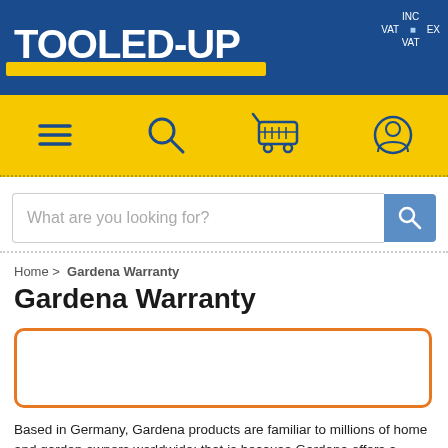[Figure (logo): TOOLED-UP.COM logo in white and yellow text on dark blue background header bar with navigation icons (hamburger menu, search, cart, user account) on yellow bar]
INC VAT   EX VAT
What are you looking for?
Home > Gardena Warranty
Gardena Warranty
[Figure (other): Empty orange-bordered rectangle box]
Based in Germany, Gardena products are familiar to millions of home and garden owners worldwide: that is because Gardena offers a complete range of everything you need for your garden, whether it is watering systems, pumps, lawn care, tree and shrub